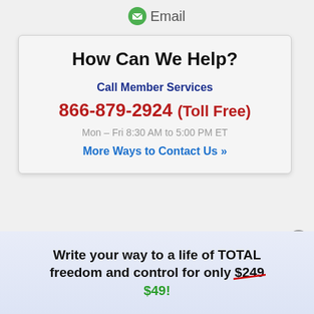[Figure (other): Email icon (green circle with envelope) and 'Email' text link at top]
How Can We Help?
Call Member Services
866-879-2924 (Toll Free)
Mon – Fri 8:30 AM to 5:00 PM ET
More Ways to Contact Us »
Write your way to a life of TOTAL freedom and control for only $249 $49!